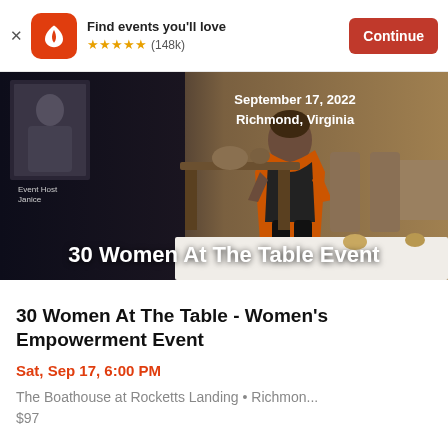Find events you'll love ★★★★★ (148k) Continue
[Figure (photo): Event promotional banner showing a woman in orange jacket standing in an event venue with text '30 Women At The Table Event', 'September 17, 2022', 'Richmond, Virginia', 'Event Host Janice']
30 Women At The Table - Women's Empowerment Event
Sat, Sep 17, 6:00 PM
The Boathouse at Rocketts Landing • Richmon...
$97